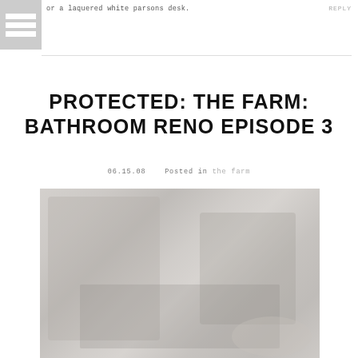or a laquered white parsons desk.
REPLY
PROTECTED: THE FARM: BATHROOM RENO EPISODE 3
06.15.08   Posted in the farm
[Figure (photo): Blurry bathroom renovation photo, faded/light-washed image showing bathroom interior elements]